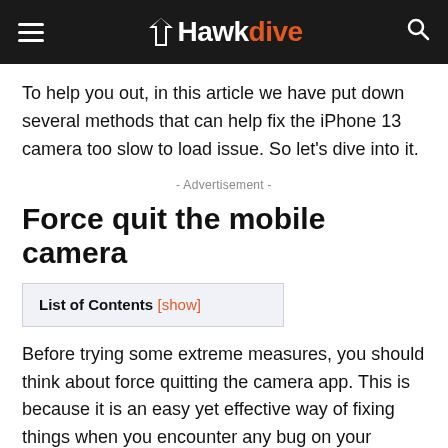Hawkdive
To help you out, in this article we have put down several methods that can help fix the iPhone 13 camera too slow to load issue. So let’s dive into it.
- Advertisement -
Force quit the mobile camera
List of Contents [show]
Before trying some extreme measures, you should think about force quitting the camera app. This is because it is an easy yet effective way of fixing things when you encounter any bug on your iPhone. Here’s how to force quit the camera